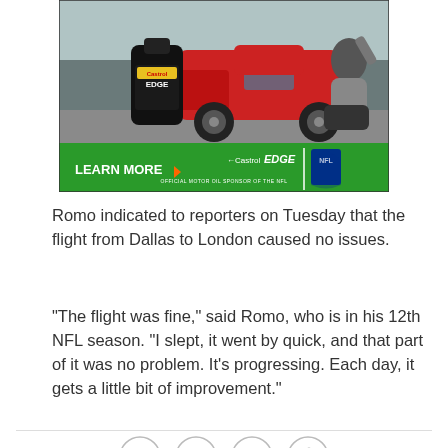[Figure (photo): Castrol EDGE advertisement banner showing a red sports car and an NFL player kneeling beside an oil bottle. Green banner at bottom reads 'LEARN MORE' with Castrol EDGE logo and NFL shield logo. Text: 'OFFICIAL MOTOR OIL SPONSOR OF THE NFL']
Romo indicated to reporters on Tuesday that the flight from Dallas to London caused no issues.
"The flight was fine," said Romo, who is in his 12th NFL season. "I slept, it went by quick, and that part of it was no problem. It's progressing. Each day, it gets a little bit of improvement."
[Figure (other): Row of four circular social sharing icons: Facebook, Twitter, Email, and Link/Chain icon]